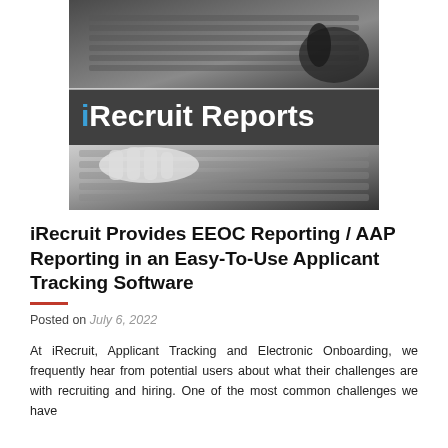[Figure (photo): Black and white photo of hands typing on a laptop keyboard, with an overlay banner reading 'iRecruit Reports' in white bold text on a dark semi-transparent background. The image shows the keyboard from two angles, split by the title banner in the middle.]
iRecruit Provides EEOC Reporting / AAP Reporting in an Easy-To-Use Applicant Tracking Software
Posted on July 6, 2022
At iRecruit, Applicant Tracking and Electronic Onboarding, we frequently hear from potential users about what their challenges are with recruiting and hiring. One of the most common challenges we have